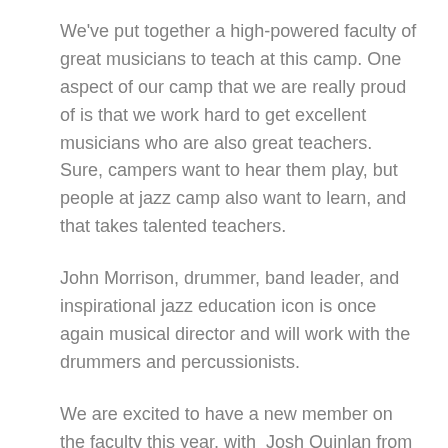We've put together a high-powered faculty of great musicians to teach at this camp. One aspect of our camp that we are really proud of is that we work hard to get excellent musicians who are also great teachers. Sure, campers want to hear them play, but people at jazz camp also want to learn, and that takes talented teachers.
John Morrison, drummer, band leader, and inspirational jazz education icon is once again musical director and will work with the drummers and percussionists.
We are excited to have a new member on the faculty this year, with Josh Quinlan from the USA joining Graeme Lyall working with the sax and woodwinds. (Dr) Josh is an outstanding player with a long and